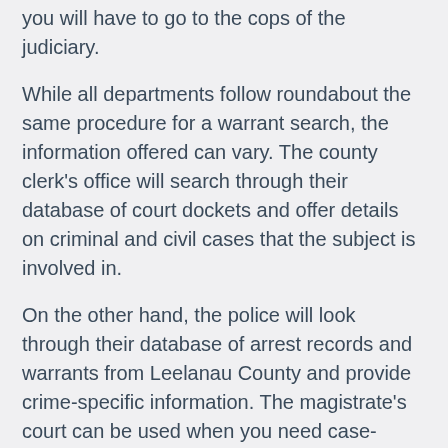you will have to go to the cops of the judiciary.
While all departments follow roundabout the same procedure for a warrant search, the information offered can vary. The county clerk's office will search through their database of court dockets and offer details on criminal and civil cases that the subject is involved in.
On the other hand, the police will look through their database of arrest records and warrants from Leelanau County and provide crime-specific information. The magistrate's court can be used when you need case-specific details or would like to learn about all judicial instruments issued against the subject. To connect with these agencies, go to
Department of the sheriff: 8525 E. Government Center Drive, Suttons Bay, Michigan 49682
Clerk of Court: PO Box 595, Leland,